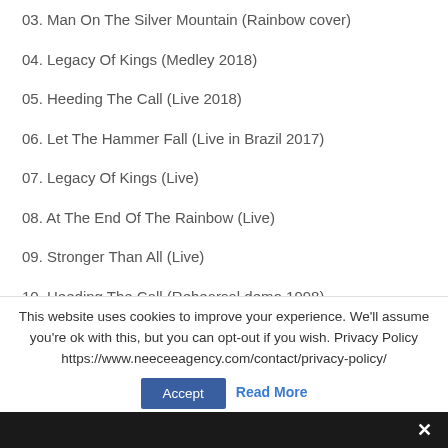03. Man On The Silver Mountain (Rainbow cover)
04. Legacy Of Kings (Medley 2018)
05. Heeding The Call (Live 2018)
06. Let The Hammer Fall (Live in Brazil 2017)
07. Legacy Of Kings (Live)
08. At The End Of The Rainbow (Live)
09. Stronger Than All (Live)
10. Heeding The Call (Rehearsal demo 1998)
This website uses cookies to improve your experience. We'll assume you're ok with this, but you can opt-out if you wish. Privacy Policy https://www.neeceeagency.com/contact/privacy-policy/
Accept  Read More
×